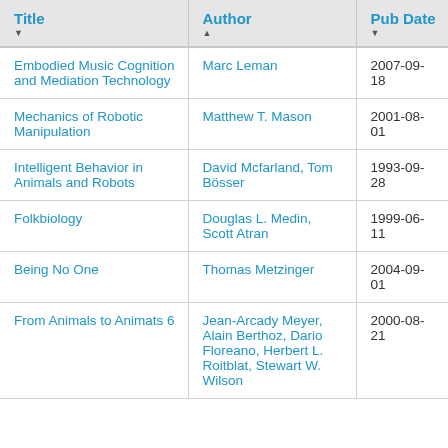| Title | Author | Pub Date |
| --- | --- | --- |
| Embodied Music Cognition and Mediation Technology | Marc Leman | 2007-09-18 |
| Mechanics of Robotic Manipulation | Matthew T. Mason | 2001-08-01 |
| Intelligent Behavior in Animals and Robots | David Mcfarland, Tom Bösser | 1993-09-28 |
| Folkbiology | Douglas L. Medin, Scott Atran | 1999-06-11 |
| Being No One | Thomas Metzinger | 2004-09-01 |
| From Animals to Animats 6 | Jean-Arcady Meyer, Alain Berthoz, Dario Floreano, Herbert L. Roitblat, Stewart W. Wilson | 2000-08-21 |